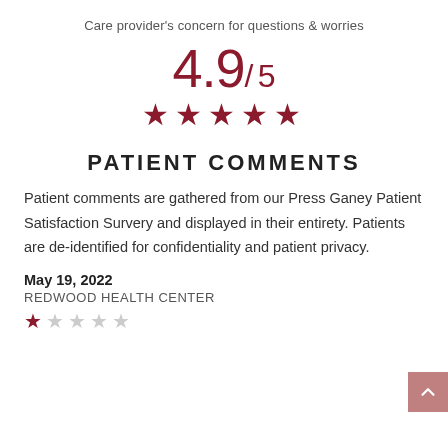Care provider's concern for questions & worries
4.9/ 5
[Figure (infographic): Five filled red stars representing a 5-star rating for the top score]
PATIENT COMMENTS
Patient comments are gathered from our Press Ganey Patient Satisfaction Survery and displayed in their entirety. Patients are de-identified for confidentiality and patient privacy.
May 19, 2022
REDWOOD HEALTH CENTER
[Figure (infographic): One filled red star followed by four empty stars representing a 1-star rating for the comment]